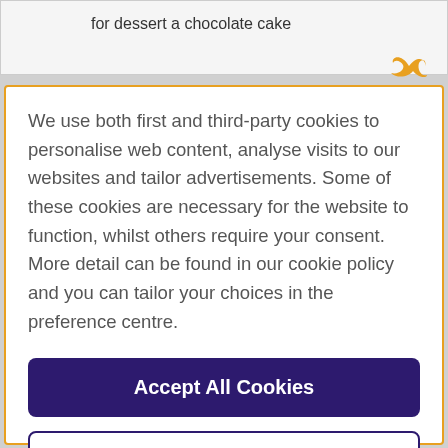for dessert a chocolate cake
We use both first and third-party cookies to personalise web content, analyse visits to our websites and tailor advertisements. Some of these cookies are necessary for the website to function, whilst others require your consent. More detail can be found in our cookie policy and you can tailor your choices in the preference centre.
Accept All Cookies
Cookies Settings